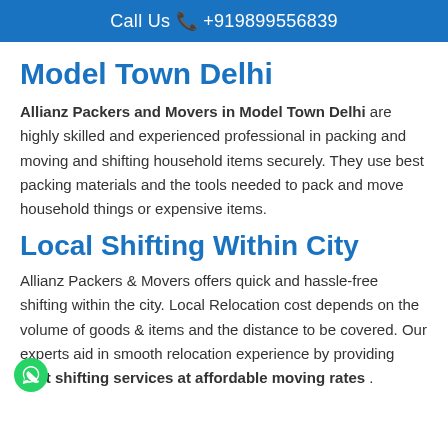Call Us 📞 +919899556839
Model Town Delhi
Allianz Packers and Movers in Model Town Delhi are highly skilled and experienced professional in packing and moving and shifting household items securely. They use best packing materials and the tools needed to pack and move household things or expensive items.
Local Shifting Within City
Allianz Packers & Movers offers quick and hassle-free shifting within the city. Local Relocation cost depends on the volume of goods & items and the distance to be covered. Our experts aid in smooth relocation experience by providing best shifting services at affordable moving rates .